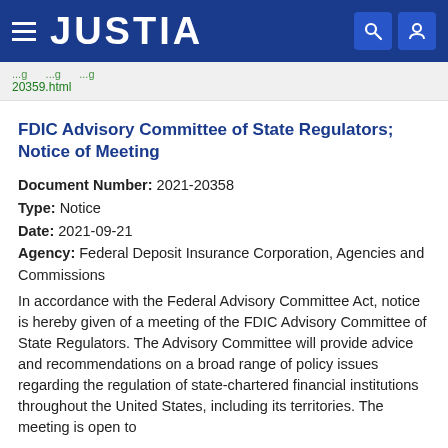JUSTIA
20359.html
FDIC Advisory Committee of State Regulators; Notice of Meeting
Document Number: 2021-20358
Type: Notice
Date: 2021-09-21
Agency: Federal Deposit Insurance Corporation, Agencies and Commissions
In accordance with the Federal Advisory Committee Act, notice is hereby given of a meeting of the FDIC Advisory Committee of State Regulators. The Advisory Committee will provide advice and recommendations on a broad range of policy issues regarding the regulation of state-chartered financial institutions throughout the United States, including its territories. The meeting is open to